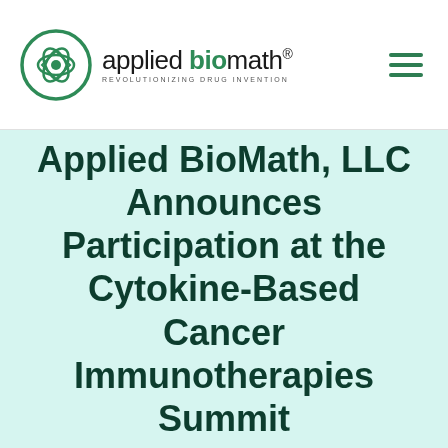[Figure (logo): Applied BioMath logo with circular atom-like green icon, text 'applied biomath' with tagline 'REVOLUTIONIZING DRUG INVENTION']
Applied BioMath, LLC Announces Participation at the Cytokine-Based Cancer Immunotherapies Summit